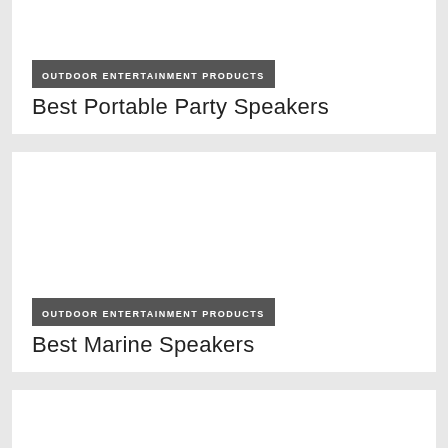OUTDOOR ENTERTAINMENT PRODUCTS
Best Portable Party Speakers
OUTDOOR ENTERTAINMENT PRODUCTS
Best Marine Speakers